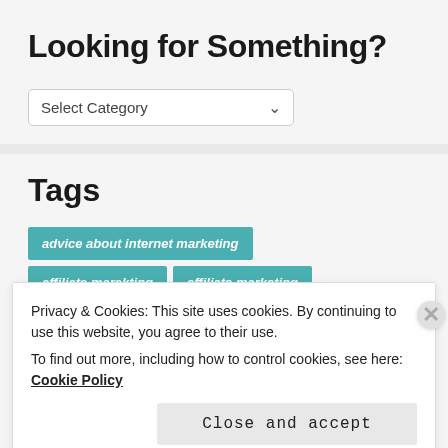Looking for Something?
[Figure (screenshot): Select Category dropdown widget]
Tags
advice about internet marketing
affiliate marekting
affiliate marketing
Privacy & Cookies: This site uses cookies. By continuing to use this website, you agree to their use. To find out more, including how to control cookies, see here: Cookie Policy
Close and accept